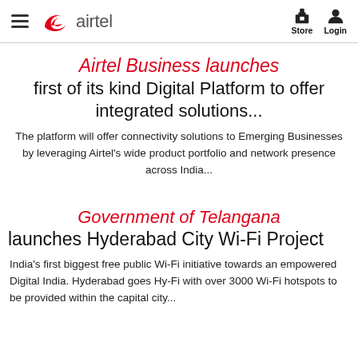airtel — Store Login
Airtel Business launches first of its kind Digital Platform to offer integrated solutions...
The platform will offer connectivity solutions to Emerging Businesses by leveraging Airtel's wide product portfolio and network presence across India...
Government of Telangana launches Hyderabad City Wi-Fi Project
India's first biggest free public Wi-Fi initiative towards an empowered Digital India. Hyderabad goes Hy-Fi with over 3000 Wi-Fi hotspots to be provided within the capital city...